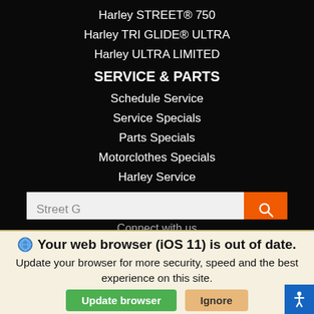Harley STREET® 750
Harley TRI GLIDE® ULTRA
Harley ULTRA LIMITED
SERVICE & PARTS
Schedule Service
Service Specials
Parts Specials
Motorclothes Specials
Harley Service
Harley Battery
Harley Brakes
Harley Tires
Harley Oil Change
Harley Parts
Street G [search input]
Connect with us
🌐 Your web browser (iOS 11) is out of date. Update your browser for more security, speed and the best experience on this site.
Update browser | Ignore